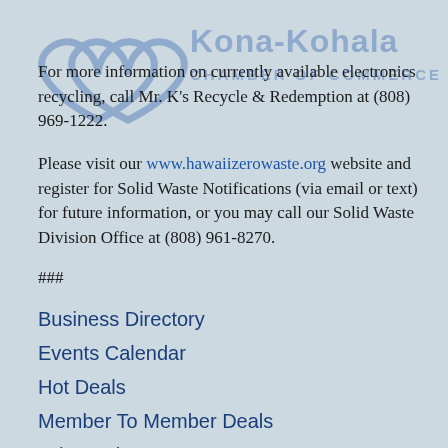[Figure (logo): Kona-Kohala Chamber of Commerce logo watermark at top left]
For more information on currently available electronics recycling, call Mr. K's Recycle & Redemption at (808) 969-1222.
Please visit our www.hawaiizerowaste.org website and register for Solid Waste Notifications (via email or text) for future information, or you may call our Solid Waste Division Office at (808) 961-8270.
###
Business Directory
Events Calendar
Hot Deals
Member To Member Deals
Job Postings
Contact Us